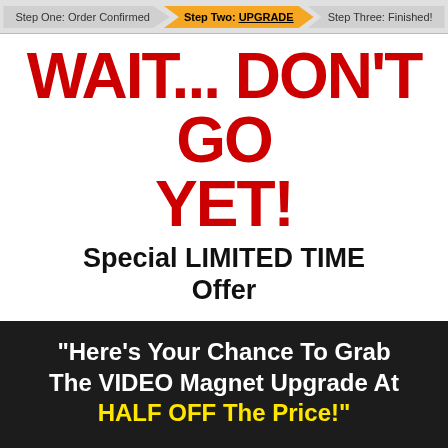Step One: Order Confirmed   Step Two: UPGRADE   Step Three: Finished!
WAIT... DON'T GO YET!
Special LIMITED TIME Offer
"Here's Your Chance To Grab The VIDEO Magnet Upgrade At HALF OFF The Price!"
You Can Still Get The The PLR Video,